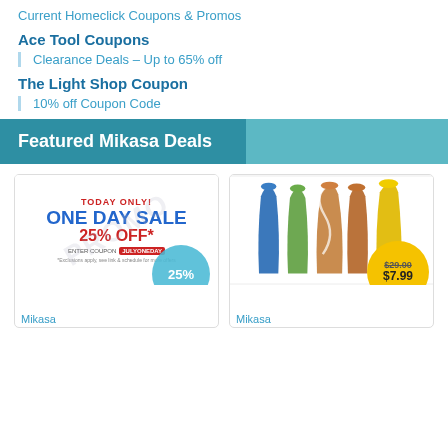Current Homeclick Coupons & Promos
Ace Tool Coupons
Clearance Deals – Up to 65% off
The Light Shop Coupon
10% off Coupon Code
Featured Mikasa Deals
[Figure (photo): Mikasa ONE DAY SALE 25% OFF promotional ad with coupon code JULYONEDAY, with a teal circular badge showing 25%]
Mikasa
[Figure (photo): Five colorful glass vases (blue, green, swirled, amber, yellow) with a gold price badge showing $29.00 struck through and $7.99]
Mikasa